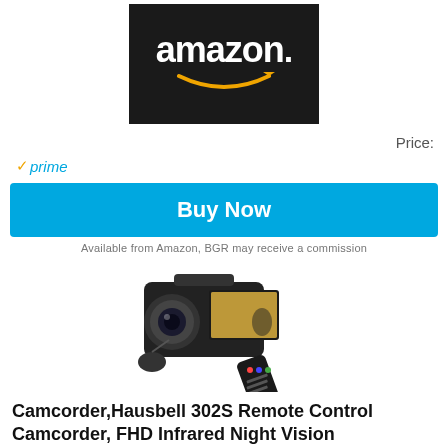[Figure (logo): Amazon logo — white text on dark background with orange arrow swoosh]
Price:
✓prime
Buy Now
Available from Amazon, BGR may receive a commission
[Figure (photo): Hausbell 302S camcorder with remote control]
Camcorder,Hausbell 302S Remote Control Camcorder, FHD Infrared Night Vision